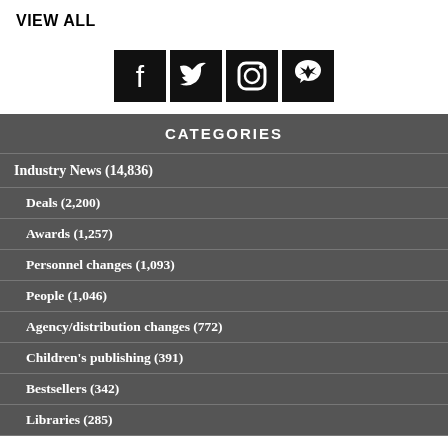VIEW ALL
[Figure (other): Social media icons: Facebook, Twitter, Instagram, Pinterest on black square backgrounds]
CATEGORIES
Industry News (14,836)
Deals (2,200)
Awards (1,257)
Personnel changes (1,093)
People (1,046)
Agency/distribution changes (772)
Children's publishing (391)
Bestsellers (342)
Libraries (285)